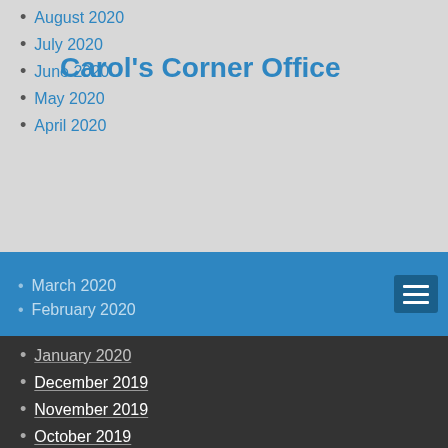Carol's Corner Office
August 2020
July 2020
June 2020
May 2020
April 2020
March 2020
February 2020
January 2020
December 2019
November 2019
October 2019
September 2019
August 2019
July 2019
June 2019
May 2019
April 2019
March 2019
February 2019
January 2019
December 2018
November 2018